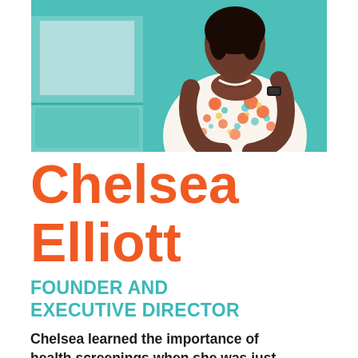[Figure (photo): Photograph of Chelsea Elliott, a woman wearing a colorful floral top with orange and teal patterns, standing in front of teal-colored cabinetry, hands clasped in front, wearing a smartwatch.]
Chelsea Elliott
FOUNDER AND EXECUTIVE DIRECTOR
Chelsea learned the importance of health screenings when she was just